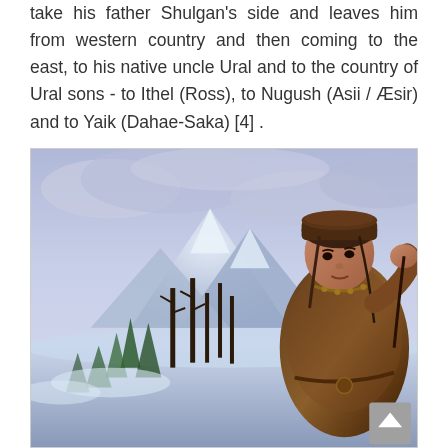take his father Shulgan's side and leaves him from western country and then coming to the east, to his native uncle Ural and to the country of Ural sons - to Ithel (Ross), to Nugush (Asii / Æsir) and to Yaik (Dahae-Saka) [4] .
[Figure (illustration): Illustration of a man dressed in fur clothing and a fur hat, standing in a snowy mountain landscape with pine trees. The man faces left/forward with mountains and blue-grey cloudy sky in the background. Fantasy or historical art style.]